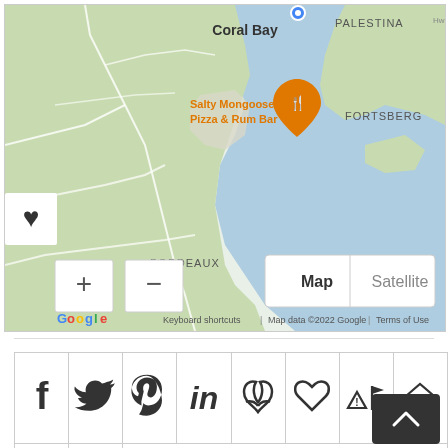[Figure (map): Google Maps screenshot showing Coral Bay area with Salty Mongoose Pizza & Rum Bar marker, neighborhoods labeled: PALESTINA, FORTSBERG, BORDEAUX. Shows water/ocean in blue, land in green and gray. Includes zoom controls (+/-), Map/Satellite toggle, Google logo, and attribution text. Heart/favorite icon on left edge.]
[Figure (other): Grid of social sharing and action icons: Facebook (f), Twitter (bird), Pinterest (P), LinkedIn (in), Acrobat/PDF, Heart/favorite, Flag with exclamation, House with people, Binoculars, Clipboard with pencil]